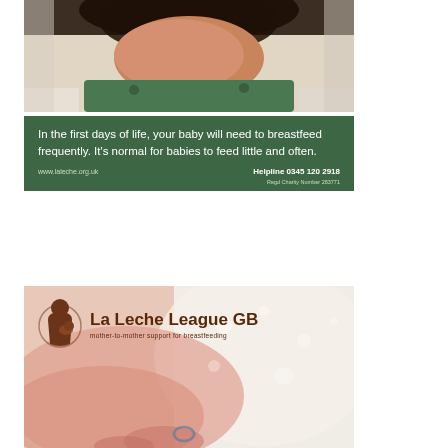[Figure (photo): Photo of a newborn baby in a green outfit against a white background, combined with a dark green information panel below. The green panel contains text about breastfeeding, website URL, and helpline number.]
In the first days of life, your baby will need to breastfeed frequently. It's normal for babies to feed little and often.
www.laleche.org.uk     Helpline 0345 120 2918
Regd Charity Number 283771
[Figure (photo): Close-up photo of a newborn baby's hand or mouth area with soft focus, overlaid with the La Leche League GB logo showing a brown mother-and-child silhouette icon alongside the organisation name and tagline 'mother-to-mother support for breastfeeding'.]